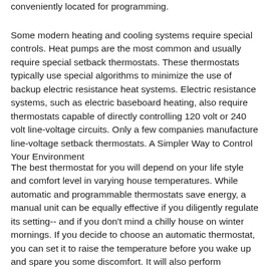conveniently located for programming.
Some modern heating and cooling systems require special controls. Heat pumps are the most common and usually require special setback thermostats. These thermostats typically use special algorithms to minimize the use of backup electric resistance heat systems. Electric resistance systems, such as electric baseboard heating, also require thermostats capable of directly controlling 120 volt or 240 volt line-voltage circuits. Only a few companies manufacture line-voltage setback thermostats. A Simpler Way to Control Your Environment
The best thermostat for you will depend on your life style and comfort level in varying house temperatures. While automatic and programmable thermostats save energy, a manual unit can be equally effective if you diligently regulate its setting-- and if you don't mind a chilly house on winter mornings. If you decide to choose an automatic thermostat, you can set it to raise the temperature before you wake up and spare you some discomfort. It will also perform consistently and dependably to